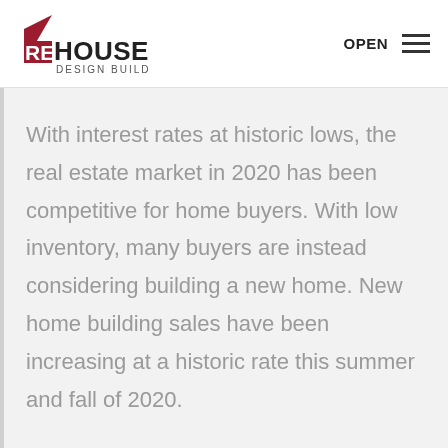[Figure (logo): Red House Design Build logo with red triangle/house shape on the left and bold text 'REDHOUSE' with 'DESIGN BUILD' below]
OPEN
With interest rates at historic lows, the real estate market in 2020 has been competitive for home buyers. With low inventory, many buyers are instead considering building a new home. New home building sales have been increasing at a historic rate this summer and fall of 2020.